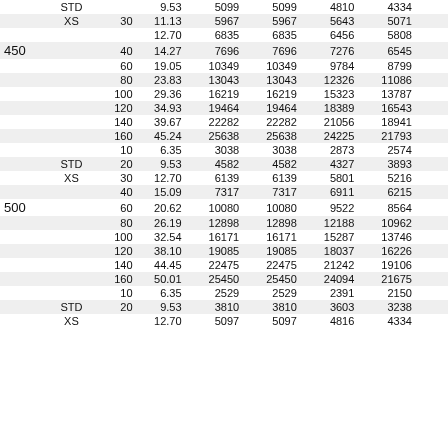| Size | Sched | Wall | Value1 | Value2 | Value3 | Value4 | ... |
| --- | --- | --- | --- | --- | --- | --- | --- |
|  | STD |  | 9.53 | 5099 | 5099 | 4810 | 4334 |  |
|  | XS | 30 | 11.13 | 5967 | 5967 | 5643 | 5071 |  |
|  |  |  | 12.70 | 6835 | 6835 | 6456 | 5808 |  |
| 450 |  | 40 | 14.27 | 7696 | 7696 | 7276 | 6545 |  |
|  |  | 60 | 19.05 | 10349 | 10349 | 9784 | 8799 |  |
|  |  | 80 | 23.83 | 13043 | 13043 | 12326 | 11086 |  |
|  |  | 100 | 29.36 | 16219 | 16219 | 15323 | 13787 |  |
|  |  | 120 | 34.93 | 19464 | 19464 | 18389 | 16543 |  |
|  |  | 140 | 39.67 | 22282 | 22282 | 21056 | 18941 |  |
|  |  | 160 | 45.24 | 25638 | 25638 | 24225 | 21793 |  |
|  |  | 10 | 6.35 | 3038 | 3038 | 2873 | 2574 |  |
|  | STD | 20 | 9.53 | 4582 | 4582 | 4327 | 3893 |  |
|  | XS | 30 | 12.70 | 6139 | 6139 | 5801 | 5216 |  |
|  |  | 40 | 15.09 | 7317 | 7317 | 6911 | 6215 |  |
| 500 |  | 60 | 20.62 | 10080 | 10080 | 9522 | 8564 |  |
|  |  | 80 | 26.19 | 12898 | 12898 | 12188 | 10962 |  |
|  |  | 100 | 32.54 | 16171 | 16171 | 15287 | 13746 |  |
|  |  | 120 | 38.10 | 19085 | 19085 | 18037 | 16226 |  |
|  |  | 140 | 44.45 | 22475 | 22475 | 21242 | 19106 |  |
|  |  | 160 | 50.01 | 25450 | 25450 | 24094 | 21675 |  |
|  |  | 10 | 6.35 | 2529 | 2529 | 2391 | 2150 |  |
|  | STD | 20 | 9.53 | 3810 | 3810 | 3603 | 3238 |  |
|  | XS |  | 12.70 | 5097 | 5097 | 4816 | 4334 |  |